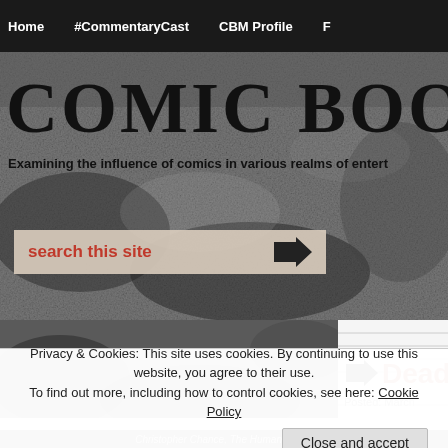Home  #CommentaryCast  CBM Profile  F
COMIC BOOK ME
Examining the influence of comics in various realms of entert
[Figure (screenshot): Website banner/header with grungy dark textured background showing 'COMIC BOOK ME...' title and subtitle, and a search bar with red 'search this site' text and arrow icon]
[Figure (screenshot): Left column showing dark textured background image]
[Figure (screenshot): Right column showing lined notebook-style background with an arrow, red 'Dead' text (partially visible), and 'Posted: March...' text]
Privacy & Cookies: This site uses cookies. By continuing to use this website, you agree to their use.
To find out more, including how to control cookies, see here: Cookie Policy
Close and accept
Christopher Chance, The Human Targ...